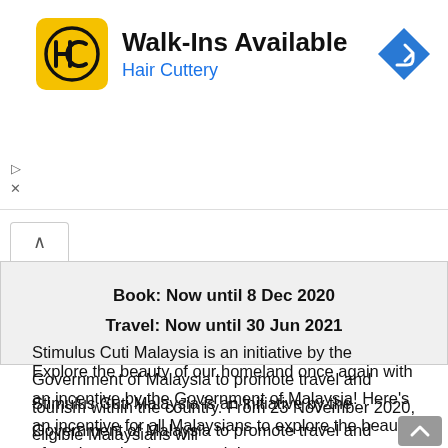[Figure (screenshot): Hair Cuttery advertisement banner with yellow HC logo, 'Walk-Ins Available' headline, blue 'Hair Cuttery' subtitle, and a blue navigation arrow icon on the right]
Book: Now until 8 Dec 2020
Travel: Now until 30 Jun 2021
Explore the beauty of our homeland once again with an incentive by the Government of Malaysia! Here's an incentive for all Malaysians to explore the beauty of our homeland once again!
Stimulus Cuti Malaysia is an initiative by the Government of Malaysia to promote travel and tourism within the country. From 23 November 2020, eligible Malaysians will